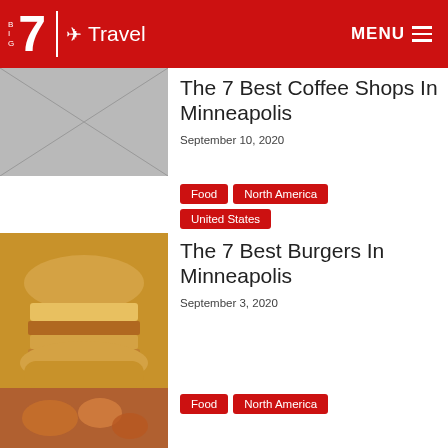Big 7 Travel | ✈ Travel   MENU
[Figure (photo): Partial view of a black and white photo, cropped at top]
The 7 Best Coffee Shops In Minneapolis
September 10, 2020
[Figure (photo): A large stacked burger with melted cheese on a plate]
Food
North America
United States
The 7 Best Burgers In Minneapolis
September 3, 2020
[Figure (photo): Food photo, appears to show glazed/sauced chicken or wings]
Food
North America